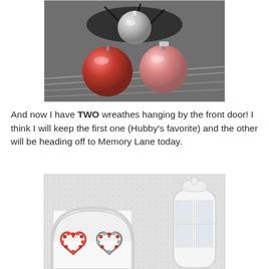[Figure (photo): Close-up photo of Christmas ornaments: a large red ball, a pink/rose ball, and a silver ball with silver tinsel garland in the background]
And now I have TWO wreathes hanging by the front door! I think I will keep the first one (Hubby's favorite) and the other will be heading off to Memory Lane today.
[Figure (photo): Interior hallway photo showing two heart-shaped wreaths hanging on a wall near an arch doorway, with a white cabinet visible on the right side]